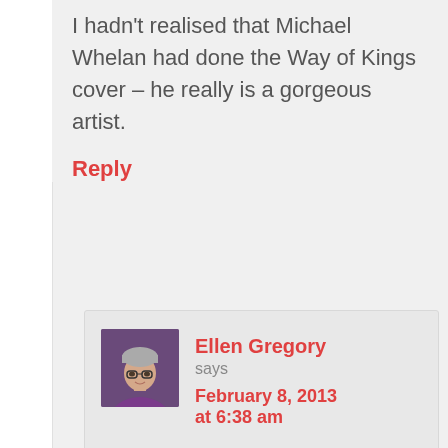I hadn't realised that Michael Whelan had done the Way of Kings cover – he really is a gorgeous artist.
Reply
Ellen Gregory says February 8, 2013 at 6:38 am
Lovely discussion, ladies. Appreciate your further